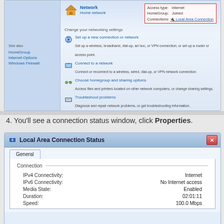[Figure (screenshot): Windows Network and Sharing Center showing Network/Home network status with Access type: Internet, HomeGroup: Joined, Connections: Local Area Connection, and options to Set up a new connection or network, Connect to a network, Choose homegroup and sharing options, Troubleshoot problems. Left panel shows See also links: HomeGroup, Internet Options, Windows Firewall.]
4. You'll see a connection status window, click Properties.
[Figure (screenshot): Local Area Connection Status dialog window showing General tab with Connection section listing IPv4 Connectivity: Internet, IPv6 Connectivity: No Internet access, Media State: Enabled, Duration: 02:01:11, Speed: 100.0 Mbps]